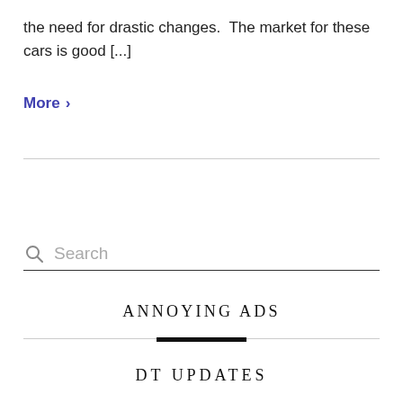the need for drastic changes.  The market for these cars is good [...]
More >
ANNOYING ADS
DT UPDATES